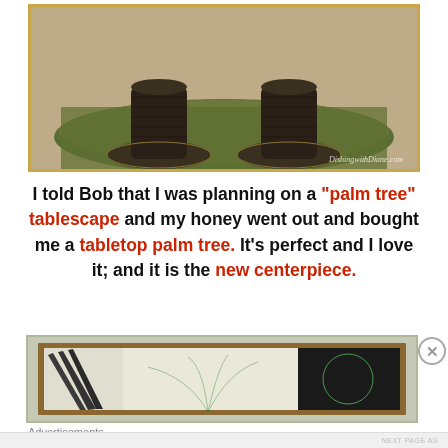[Figure (photo): Two dark bronze/black palm tree lamp bases sitting on a green mesh mat with a decorative tile floor background. Watermark reads DishingwithDiane.com]
I told Bob that I was planning on a "palm tree" tablescape and my honey went out and bought me a tabletop palm tree. It’s perfect and I love it; and it is the new centerpiece.
[Figure (photo): Partial view of a tablescape with palm tree decorations, dark fan-shaped object, green palm fronds, and a black background on the right side, in a brown frame on a sage green mat.]
Advertisements